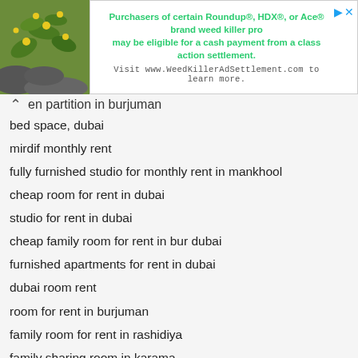[Figure (photo): Advertisement banner showing a plant photo on the left and green text on white background about Roundup, HDX, or Ace brand weed killer class action settlement, with URL www.WeedKillerAdSettlement.com]
en partition in burjuman
bed space, dubai
mirdif monthly rent
fully furnished studio for monthly rent in mankhool
cheap room for rent in dubai
studio for rent in dubai
cheap family room for rent in bur dubai
furnished apartments for rent in dubai
dubai room rent
room for rent in burjuman
family room for rent in rashidiya
family sharing room in karama
apartment for rent in dubai monthly
studio for rent in dubai monthly
sharing room in karama